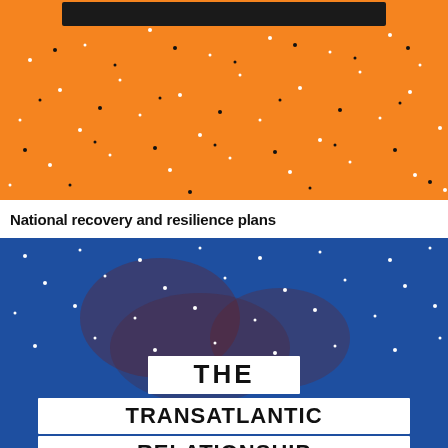[Figure (illustration): Orange background with scattered black and white dots, with a black rectangular bar/stripe at the top]
National recovery and resilience plans
[Figure (illustration): Blue background with scattered white and red/dark dots, featuring white paper-cut style text reading 'THE TRANSATLANTIC RELATIONSHIP' in bold black letters]